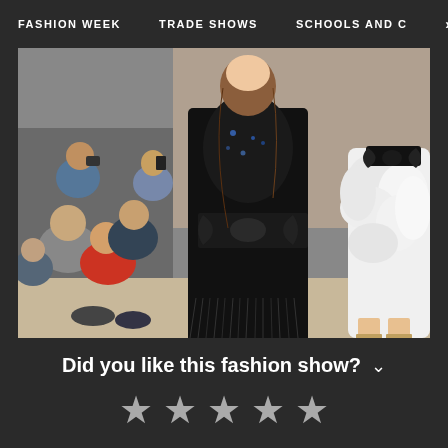FASHION WEEK   TRADE SHOWS   SCHOOLS AND C  >
[Figure (photo): Fashion runway show with models wearing black lace dress with leather bow belt and white feathery garment, audience seated in background]
Did you like this fashion show?
★ ★ ★ ★ ★